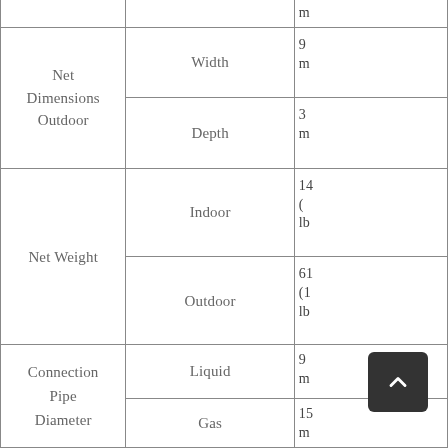|  |  |  |
| --- | --- | --- |
| Net Dimensions Outdoor | Width | 9
m |
| Net Dimensions Outdoor | Depth | 3
m |
| Net Weight | Indoor | 14
(
lb |
| Net Weight | Outdoor | 61
(1
lb |
| Connection Pipe Diameter | Liquid | 9
m |
| Connection Pipe Diameter | Gas | 15
m |